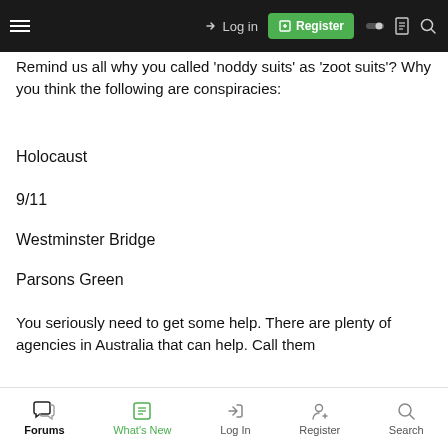and the sites biggest bluffer, you're in good company.
[Figure (screenshot): Navigation bar with hamburger menu, Log in link, green Register button, and icons for toggle, document, and search.]
Remind us all why you called ‘noddy suits’ as ‘zoot suits’? Why you think the following are conspiracies:
Holocaust
9/11
Westminster Bridge
Parsons Green
You seriously need to get some help. There are plenty of agencies in Australia that can help. Call them
184461
*Russian Troll*